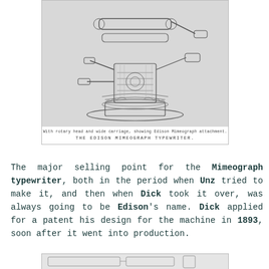[Figure (illustration): Detailed engraving of the Edison Mimeograph Typewriter, showing mechanical components including rollers, arms, and a circular base with intricate parts.]
With rotary head and wide carriage, showing Edison Mimeograph attachment.
THE EDISON MIMEOGRAPH TYPEWRITER.
The major selling point for the Mimeograph typewriter, both in the period when Unz tried to make it, and then when Dick took it over, was always going to be Edison's name. Dick applied for a patent his design for the machine in 1893, soon after it went into production.
[Figure (illustration): Partial view of another typewriter or related mechanical device at the bottom of the page.]